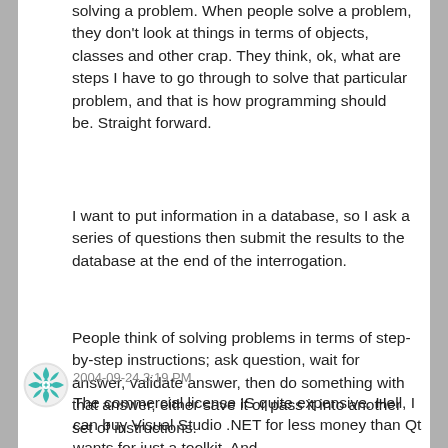solving a problem. When people solve a problem, they don't look at things in terms of objects, classes and other crap. They think, ok, what are steps I have to go through to solve that particular problem, and that is how programming should be. Straight forward.
I want to put information in a database, so I ask a series of questions then submit the results to the database at the end of the interrogation.
People think of solving problems in terms of step-by-step instructions; ask question, wait for answer, validate answer, then do something with that answer, either save it or pass it into another set of instructions.
2004-09-24 3:19 PM
The commercial license IS quite expensive. Hell, I can buy Visual Studio .NET for less money than Qt wants for just a toolkit. And
[Figure (logo): Circular logo with teal/green geometric star pattern on white background]